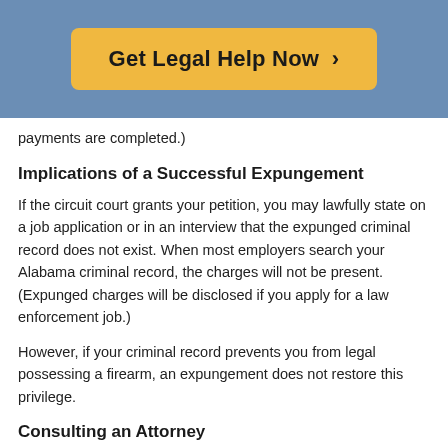[Figure (other): Blue banner with a yellow 'Get Legal Help Now >' button]
payments are completed.)
Implications of a Successful Expungement
If the circuit court grants your petition, you may lawfully state on a job application or in an interview that the expunged criminal record does not exist. When most employers search your Alabama criminal record, the charges will not be present. (Expunged charges will be disclosed if you apply for a law enforcement job.)
However, if your criminal record prevents you from legal possessing a firearm, an expungement does not restore this privilege.
Consulting an Attorney